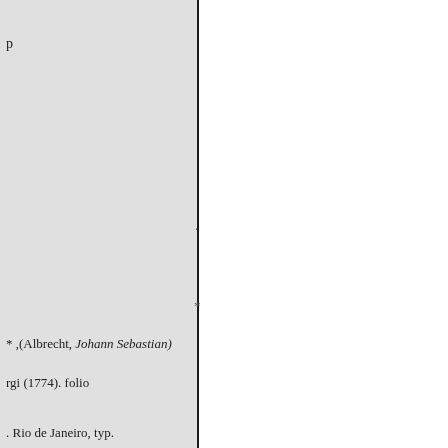p
.
*
* ,(Albrecht, Johann Sebastian)
rgi (1774). folio
. Rio de Janeiro, typ.